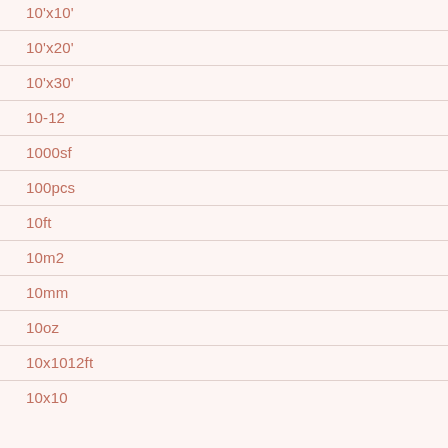10'x10'
10'x20'
10'x30'
10-12
1000sf
100pcs
10ft
10m2
10mm
10oz
10x1012ft
10x10ft